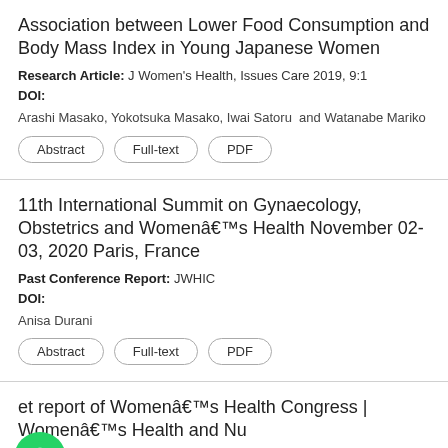Association between Lower Food Consumption and Body Mass Index in Young Japanese Women
Research Article: J Women's Health, Issues Care 2019, 9:1
DOI:
Arashi Masako, Yokotsuka Masako, Iwai Satoru and Watanabe Mariko
Abstract | Full-text | PDF
11th International Summit on Gynaecology, Obstetrics and Womenâs Health November 02-03, 2020 Paris, France
Past Conference Report: JWHIC
DOI:
Anisa Durani
Abstract | Full-text | PDF
et report of Womenâs Health Congress | Womenâs Health and Nu
[Figure (other): WhatsApp chat button (green circle with phone icon) and 'Leave a message' blue bar with X close button]